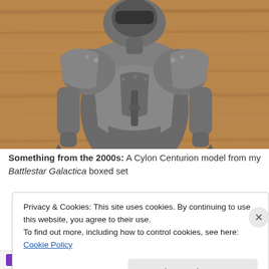[Figure (photo): A Cylon Centurion action figure photographed against a wooden surface. The metallic grey robot figure is shown from behind/above, featuring detailed armor plating, shoulder pauldrons, and articulated limbs.]
Something from the 2000s: A Cylon Centurion model from my Battlestar Galactica boxed set
Privacy & Cookies: This site uses cookies. By continuing to use this website, you agree to their use.
To find out more, including how to control cookies, see here: Cookie Policy